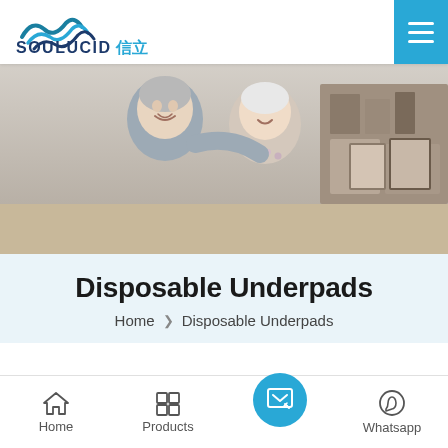[Figure (logo): SOULUCID 信立 logo with stylized wave/mountain graphic in teal and dark blue]
[Figure (photo): Smiling elderly couple, man and woman, sitting together indoors on a sofa]
Disposable Underpads
Home  ❯  Disposable Underpads
Soulucid under pads is design for adult and elderly. Using non-woven fabric for topsheet, it makes you feel soft and safe,
Home  Products  [inquiry icon]  Whatsapp